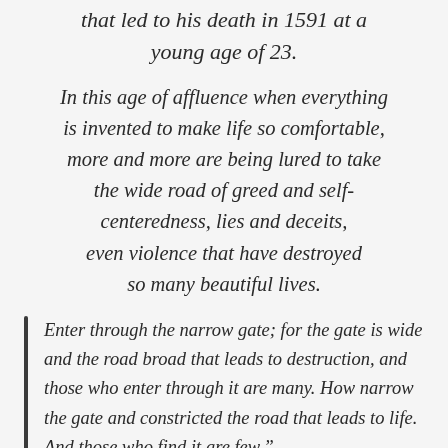that led to his death in 1591 at a young age of 23.
In this age of affluence when everything is invented to make life so comfortable, more and more are being lured to take the wide road of greed and self-centeredness, lies and deceits, even violence that have destroyed so many beautiful lives.
Enter through the narrow gate; for the gate is wide and the road broad that leads to destruction, and those who enter through it are many. How narrow the gate and constricted the road that leads to life. And those who find it are few.”